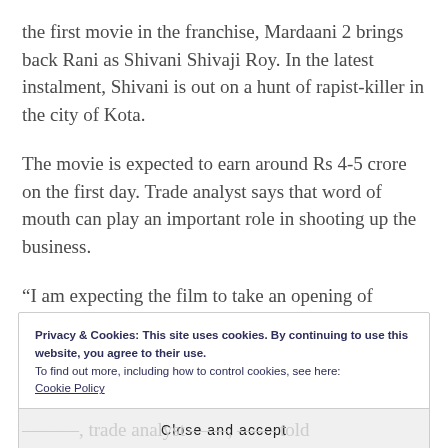the first movie in the franchise, Mardaani 2 brings back Rani as Shivani Shivaji Roy. In the latest instalment, Shivani is out on a hunt of rapist-killer in the city of Kota.
The movie is expected to earn around Rs 4-5 crore on the first day. Trade analyst says that word of mouth can play an important role in shooting up the business.
“I am expecting the film to take an opening of
Privacy & Cookies: This site uses cookies. By continuing to use this website, you agree to their use.
To find out more, including how to control cookies, see here:
Cookie Policy
Close and accept